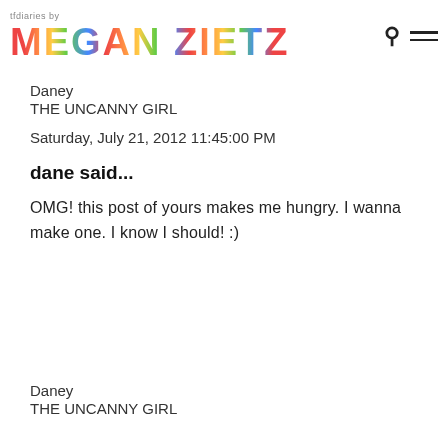tfdiaries by MEGAN ZIETZ
Daney
THE UNCANNY GIRL
Saturday, July 21, 2012 11:45:00 PM
dane said...
OMG! this post of yours makes me hungry. I wanna make one. I know I should! :)
Daney
THE UNCANNY GIRL